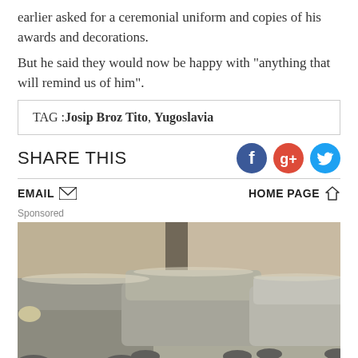earlier asked for a ceremonial uniform and copies of his awards and decorations.
But he said they would now be happy with "anything that will remind us of him".
TAG : Josip Broz Tito, Yugoslavia
SHARE THIS
EMAIL
HOME PAGE
Sponsored
[Figure (photo): Snow-covered cars parked in a lot, viewed from low angle, grey/beige tones]